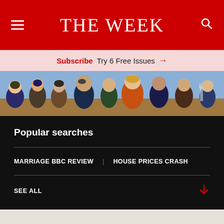THE WEEK
Subscribe Try 6 Free Issues →
[Figure (illustration): Magazine cover illustration showing caricatures of political figures]
Popular searches
MARRIAGE BBC REVIEW
HOUSE PRICES CRASH
SEE ALL
Hitting The Week...